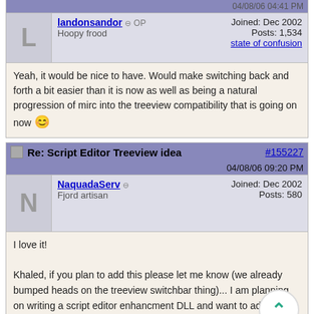04/08/06 04:41 PM
landonsandor  OP
Hoopy frood
Joined: Dec 2002
Posts: 1,534
state of confusion
Yeah, it would be nice to have. Would make switching back and forth a bit easier than it is now as well as being a natural progression of mirc into the treeview compatibility that is going on now 😊
Re: Script Editor Treeview idea  #155227  04/08/06 09:20 PM
NaquadaServ  Fjord artisan
Joined: Dec 2002
Posts: 580
I love it!

Khaled, if you plan to add this please let me know (we already bumped heads on the treeview switchbar thing)... I am planning on writing a script editor enhancment DLL and want to add this idea to the project. But if you're going to do it, I'll wait... 🙂
Re: Script Editor Treeview idea  #155228